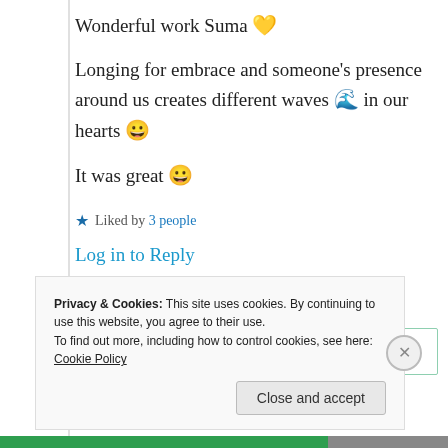Wonderful work Suma 💛
Longing for embrace and someone's presence around us creates different waves 🌊 in our hearts 😀
It was great 😀
★ Liked by 3 people
Log in to Reply
Privacy & Cookies: This site uses cookies. By continuing to use this website, you agree to their use.
To find out more, including how to control cookies, see here: Cookie Policy
Close and accept